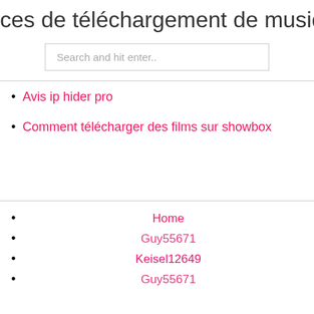ces de téléchargement de musique s
Search and hit enter..
Avis ip hider pro
Comment télécharger des films sur showbox
Home
Guy55671
Keisel12649
Guy55671